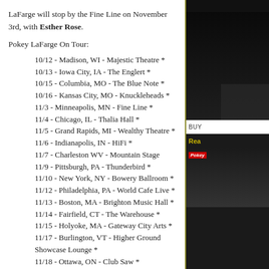LaFarge will stop by the Fine Line on November 3rd, with Esther Rose.
Pokey LaFarge On Tour:
10/12 - Madison, WI - Majestic Theatre *
10/13 - Iowa City, IA - The Englert *
10/15 - Columbia, MO - The Blue Note *
10/16 - Kansas City, MO - Knuckleheads *
11/3 - Minneapolis, MN - Fine Line *
11/4 - Chicago, IL - Thalia Hall *
11/5 - Grand Rapids, MI - Wealthy Theatre *
11/6 - Indianapolis, IN - HiFi *
11/7 - Charleston WV - Mountain Stage
11/9 - Pittsburgh, PA - Thunderbird *
11/10 - New York, NY - Bowery Ballroom *
11/12 - Philadelphia, PA - World Cafe Live *
11/13 - Boston, MA - Brighton Music Hall *
11/14 - Fairfield, CT - The Warehouse *
11/15 - Holyoke, MA - Gateway City Arts *
11/17 - Burlington, VT - Higher Ground Showcase Lounge *
11/18 - Ottawa, ON - Club Saw *
11/19 - Toronto, ON - Horseshoe Tavern *
11/20 - Toronto, ON - Horseshoe Tavern *
* with Esther Rose (duo)